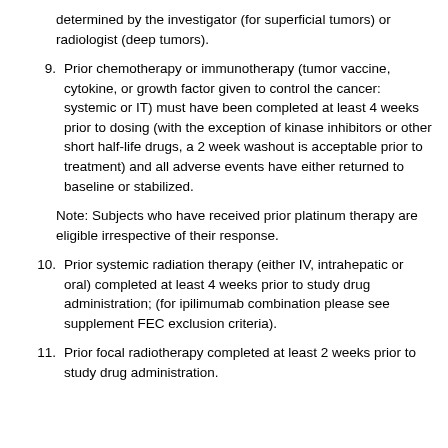determined by the investigator (for superficial tumors) or radiologist (deep tumors).
9. Prior chemotherapy or immunotherapy (tumor vaccine, cytokine, or growth factor given to control the cancer: systemic or IT) must have been completed at least 4 weeks prior to dosing (with the exception of kinase inhibitors or other short half-life drugs, a 2 week washout is acceptable prior to treatment) and all adverse events have either returned to baseline or stabilized.
Note: Subjects who have received prior platinum therapy are eligible irrespective of their response.
10. Prior systemic radiation therapy (either IV, intrahepatic or oral) completed at least 4 weeks prior to study drug administration; (for ipilimumab combination please see supplement FEC exclusion criteria).
11. Prior focal radiotherapy completed at least 2 weeks prior to study drug administration.